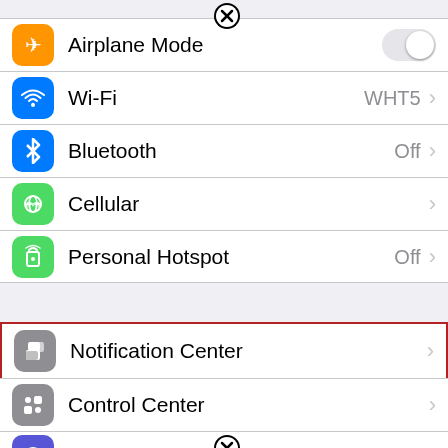[Figure (screenshot): iOS Settings screen showing: Airplane Mode (toggle off), Wi-Fi (WHT5), Bluetooth (Off), Cellular, Personal Hotspot (Off), then a section break, then Notification Center (highlighted with red border), Control Center, and Do Not Disturb (partially visible). Close badges appear at the top and bottom of the screen.]